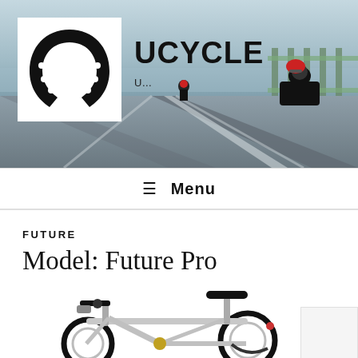[Figure (photo): Website header banner showing cyclists riding on a bridge road, with sky background. Left side has UCYCLE horseshoe logo on white box.]
UCYCLE
≡ Menu
FUTURE
Model: Future Pro
[Figure (photo): Silver folding/compact bicycle (Future Pro model) shown from the side on white background, featuring a minimalist aluminum frame, wide handlebars, black seat, and black tires. A small white box is partially visible at the bottom right.]